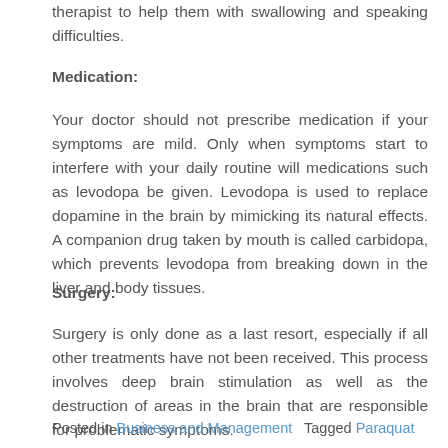therapist to help them with swallowing and speaking difficulties.
Medication:
Your doctor should not prescribe medication if your symptoms are mild. Only when symptoms start to interfere with your daily routine will medications such as levodopa be given. Levodopa is used to replace dopamine in the brain by mimicking its natural effects. A companion drug taken by mouth is called carbidopa, which prevents levodopa from breaking down in the liver and body tissues.
Surgery:
Surgery is only done as a last resort, especially if all other treatments have not been received. This process involves deep brain stimulation as well as the destruction of areas in the brain that are responsible for problematic symptoms.
Posted in Business and Management   Tagged Paraquat